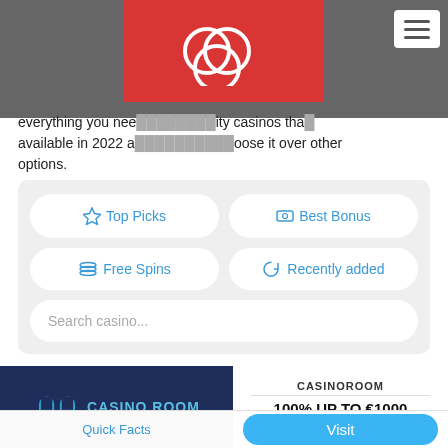everything you need ... quality casinos that available in 2022 a... choose it over other options.
everything you need ... quality casinos that available in 2022 and ... choose it over other options.
[Figure (screenshot): Navigation filter box with buttons: Top Picks, Best Bonus, Free Spins, Recently added, and a Search casino... input field]
[Figure (screenshot): Casino listing card for Casino Room showing logo on dark blue background, name CASINOROOM, bonus 100% UP TO €1000 and 100 FREE SPINS, with a Visit button and Quick Facts link]